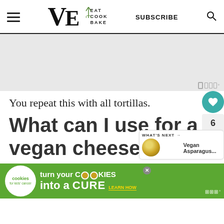VE Eat Cook Bake — SUBSCRIBE
[Figure (other): Gray advertisement placeholder block with Mailchimp-style badge icon in bottom right corner]
You repeat this with all tortillas.
What can I use for a vegan cheese?
[Figure (other): What's Next panel: circular food image (Vegan Asparagus...) with label]
[Figure (other): Bottom advertisement banner: cookies for kids cancer — turn your COOKIES into a CURE LEARN HOW]